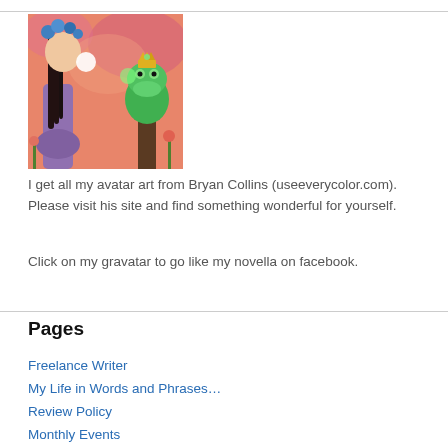[Figure (illustration): Painting of a girl with blue hair accessories kissing a green frog prince on a pedestal, colorful pink/orange background]
I get all my avatar art from Bryan Collins (useeverycolor.com). Please visit his site and find something wonderful for yourself.
Click on my gravatar to go like my novella on facebook.
Pages
Freelance Writer
My Life in Words and Phrases…
Review Policy
Monthly Events